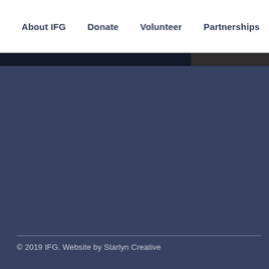About IFG   Donate   Volunteer   Partnerships
[Figure (other): Dark navy and dark gray horizontal divider bar separating navigation from main content area]
[Figure (other): Large dark blue-gray background area (main content section), mostly empty]
© 2019 IFG. Website by Starlyn Creative